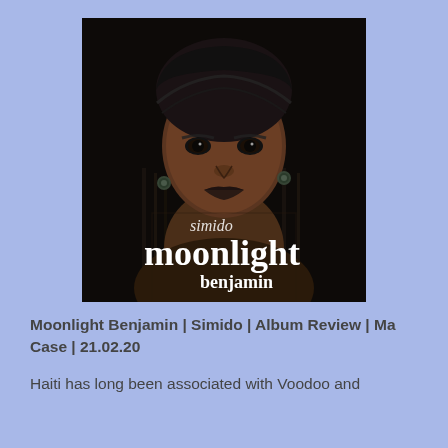[Figure (photo): Album cover for 'Moonlight' by Simido Benjamin. A Black woman wearing a black head wrap and dark clothing stares intensely at the camera. At the bottom of the image, text reads 'simido moonlight benjamin' in white serif font.]
Moonlight Benjamin | Simido | Album Review | Ma Case | 21.02.20
Haiti has long been associated with Voodoo and